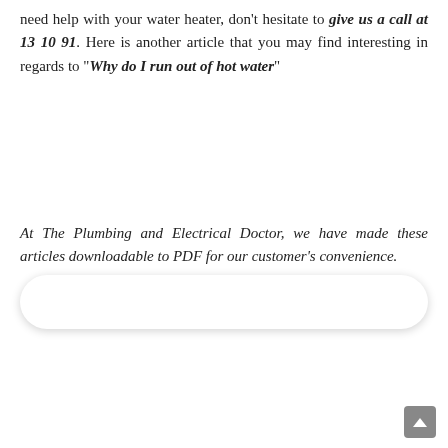need help with your water heater, don't hesitate to give us a call at 13 10 91. Here is another article that you may find interesting in regards to "Why do I run out of hot water"
At The Plumbing and Electrical Doctor, we have made these articles downloadable to PDF for our customer's convenience.
[Figure (other): White rounded input/widget box with shadow]
[Figure (other): Blue rounded call button with phone icon and text 'Call now! 13 10 91', with a green circular phone icon badge to the left]